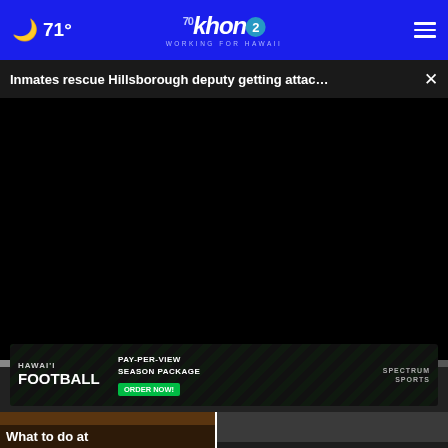71° khon2 WORKING FOR HAWAII
Inmates rescue Hillsborough deputy getting attac... ×
[Figure (screenshot): Black video player area with progress bar and controls showing 00:00 timestamp, play button, mute button and fullscreen button]
[Figure (screenshot): Two thumbnail images side by side: left shows 'What to do at the Kauai Mu...' and right shows 'daughter pilots fly the pa...ic' with a close X overlay]
[Figure (screenshot): Advertisement banner: HAWAI'I FOOTBALL PAY-PER-VIEW SEASON PACKAGE ORDER NOW! SPECTRUM SPORTS with player image]